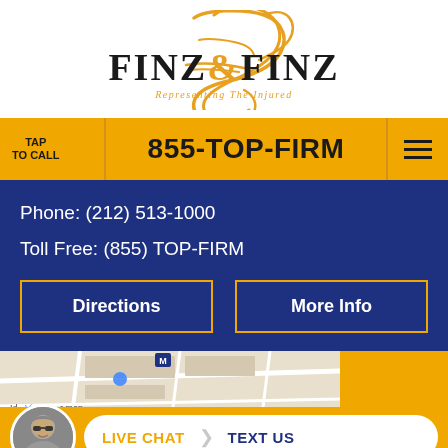[Figure (logo): Finz & Finz law firm logo with cursive F monogram in gold and serif text 'FINZ & FINZ' with tagline 'Representing The Injured']
TAP TO CALL
855-TOP-FIRM
Phone: (212) 513-1000
Toll Free: (855) TOP-FIRM
Directions
More Info
[Figure (map): Google Maps partial view showing location map]
LIVE CHAT  TEXT US